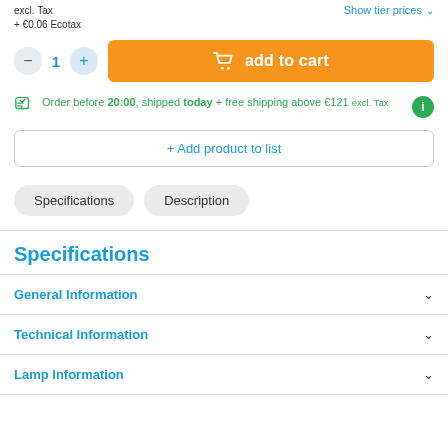excl. Tax
+ €0.06 Ecotax
Show tier prices
1
add to cart
Order before 20:00, shipped today + free shipping above €121 excl. Tax
+ Add product to list
Specifications
Description
Specifications
General Information
Technical Information
Lamp Information